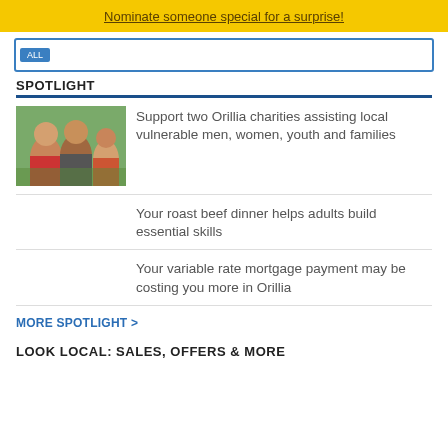Nominate someone special for a surprise!
[Figure (screenshot): Search bar with blue tab and input field]
SPOTLIGHT
[Figure (photo): Group of smiling people outdoors]
Support two Orillia charities assisting local vulnerable men, women, youth and families
Your roast beef dinner helps adults build essential skills
Your variable rate mortgage payment may be costing you more in Orillia
MORE SPOTLIGHT >
LOOK LOCAL: SALES, OFFERS & MORE